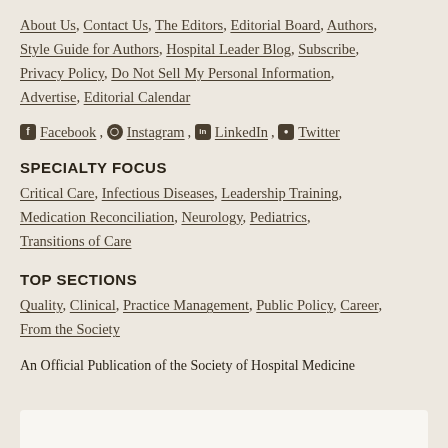About Us, Contact Us, The Editors, Editorial Board, Authors, Style Guide for Authors, Hospital Leader Blog, Subscribe, Privacy Policy, Do Not Sell My Personal Information, Advertise, Editorial Calendar
Facebook, Instagram, LinkedIn, Twitter
SPECIALTY FOCUS
Critical Care, Infectious Diseases, Leadership Training, Medication Reconciliation, Neurology, Pediatrics, Transitions of Care
TOP SECTIONS
Quality, Clinical, Practice Management, Public Policy, Career, From the Society
An Official Publication of the Society of Hospital Medicine